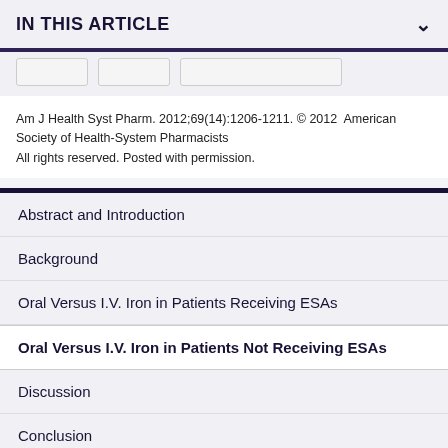IN THIS ARTICLE
Am J Health Syst Pharm. 2012;69(14):1206-1211. © 2012 American Society of Health-System Pharmacists
All rights reserved. Posted with permission.
Abstract and Introduction
Background
Oral Versus I.V. Iron in Patients Receiving ESAs
Oral Versus I.V. Iron in Patients Not Receiving ESAs
Discussion
Conclusion